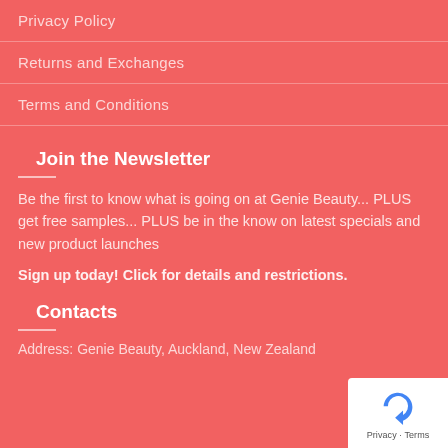Privacy Policy
Returns and Exchanges
Terms and Conditions
Join the Newsletter
Be the first to know what is going on at Genie Beauty... PLUS get free samples... PLUS be in the know on latest specials and new product launches
Sign up today! Click for details and restrictions.
Contacts
Address: Genie Beauty, Auckland, New Zealand